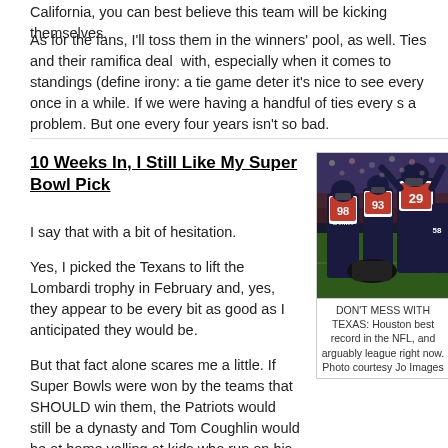California, you can best believe this team will be kicking themselves.
As for the fans, I'll toss them in the winners' pool, as well. Ties and their ramifications are a tough deal with, especially when it comes to standings (define irony: a tie game deter it's nice to see every once in a while. If we were having a handful of ties every s a problem. But one every four years isn't so bad.
10 Weeks In, I Still Like My Super Bowl Pick
I say that with a bit of hesitation.
Yes, I picked the Texans to lift the Lombardi trophy in February and, yes, they appear to be every bit as good as I anticipated they would be.
But that fact alone scares me a little. If Super Bowls were won by the teams that SHOULD win them, the Patriots would still be a dynasty and Tom Coughlin would be at home yelling at kids who run on his front lawn. As I said in reference to Roddy White above, nothing goo
[Figure (photo): Houston Texans football players celebrating on the field, players wearing jerseys numbered 98, 93, 29, and 58]
DON'T MESS WITH TEXAS: Houston best record in the NFL, and arguably league right now. Photo courtesy Jo Images